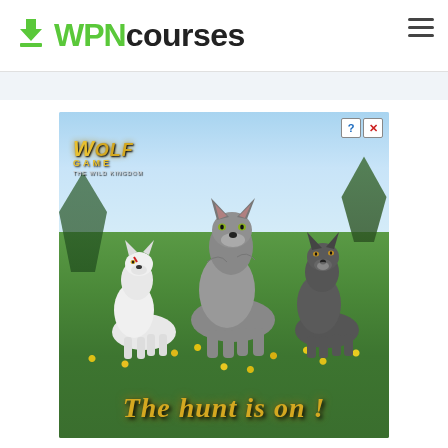WPNcourses
[Figure (illustration): Wolf Game: The Wild Kingdom advertisement banner showing three 3D-rendered wolves (white, grey, and dark) standing in a flower-filled meadow with forest background. Text reads 'WOLF GAME THE WILD KINGDOM' in gold letters top-left, and 'The hunt is on!' in gold serif italics at the bottom. Ad close/info buttons in top-right corner.]